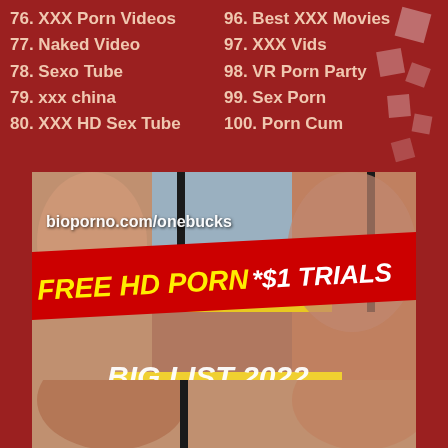76. XXX Porn Videos
77. Naked Video
78. Sexo Tube
79. xxx china
80. XXX HD Sex Tube
96. Best XXX Movies
97. XXX Vids
98. VR Porn Party
99. Sex Porn
100. Porn Cum
[Figure (photo): Advertisement image with text overlay: bioporno.com/onebucks, FREE HD PORN *$1 TRIALS, BIG LIST 2022]